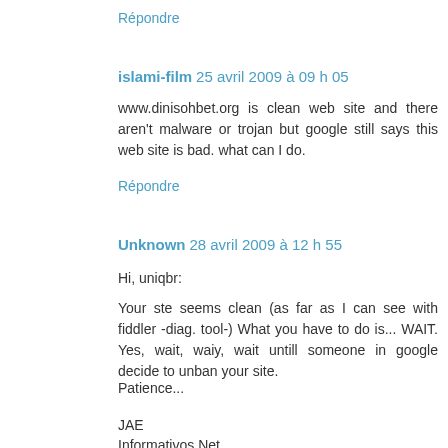Répondre
islami-film 25 avril 2009 à 09 h 05
www.dinisohbet.org is clean web site and there aren't malware or trojan but google still says this web site is bad. what can I do.
Répondre
Unknown 28 avril 2009 à 12 h 55
Hi, uniqbr:
Your ste seems clean (as far as I can see with fiddler -diag. tool-) What you have to do is... WAIT. Yes, wait, waiy, wait untill someone in google decide to unban your site.
Patience...
JAE
Informativos.Net